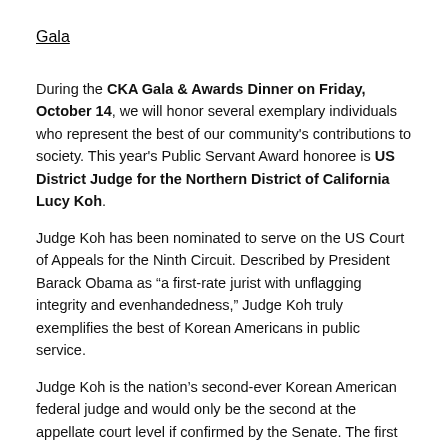Gala
During the CKA Gala & Awards Dinner on Friday, October 14, we will honor several exemplary individuals who represent the best of our community's contributions to society. This year's Public Servant Award honoree is US District Judge for the Northern District of California Lucy Koh.
Judge Koh has been nominated to serve on the US Court of Appeals for the Ninth Circuit. Described by President Barack Obama as “a first-rate jurist with unflagging integrity and evenhandedness,” Judge Koh truly exemplifies the best of Korean Americans in public service.
Judge Koh is the nation’s second-ever Korean American federal judge and would only be the second at the appellate court level if confirmed by the Senate. The first